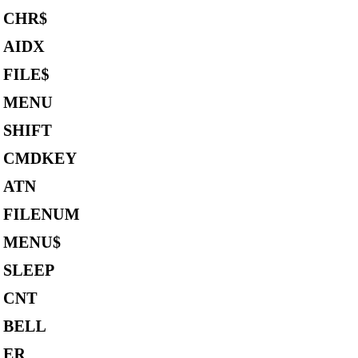CHR$
AIDX
FILE$
MENU
SHIFT
CMDKEY
ATN
FILENUM
MENU$
SLEEP
CNT
BELL
ER